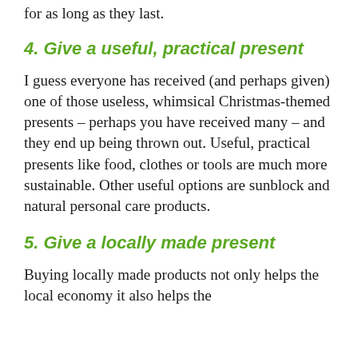for as long as they last.
4. Give a useful, practical present
I guess everyone has received (and perhaps given) one of those useless, whimsical Christmas-themed presents – perhaps you have received many – and they end up being thrown out. Useful, practical presents like food, clothes or tools are much more sustainable. Other useful options are sunblock and natural personal care products.
5. Give a locally made present
Buying locally made products not only helps the local economy it also helps the